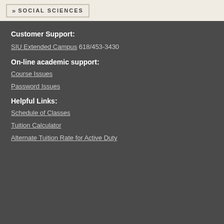SOCIAL SCIENCES
Customer Support:
SIU Extended Campus 618/453-3430
On-line academic support:
Course Issues
Password Issues
Helpful Links:
Schedule of Classes
Tuition Calculator
Alternate Tuition Rate for Active Duty